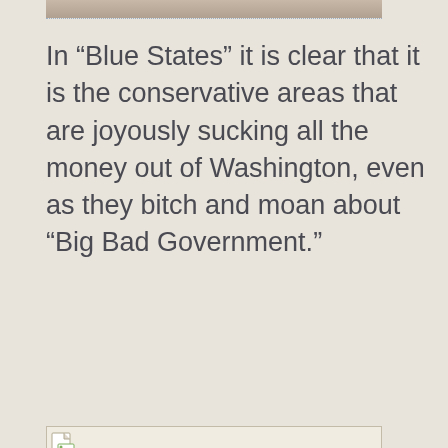[Figure (photo): Partial image at the top of the page, cropped]
In “Blue States” it is clear that it is the conservative areas that are joyously sucking all the money out of Washington, even as they bitch and moan about “Big Bad Government.”
[Figure (photo): Broken/placeholder image icon in a bordered rectangle]